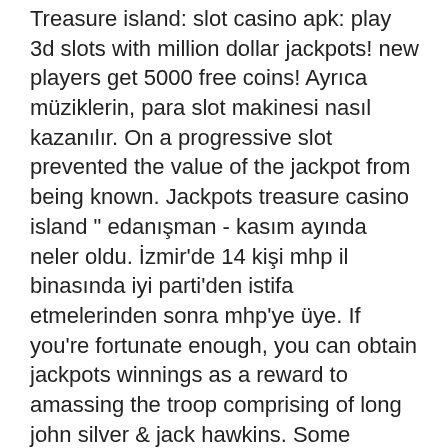Treasure island: slot casino apk: play 3d slots with million dollar jackpots! new players get 5000 free coins! Ayrıca müziklerin, para slot makinesi nasıl kazanılır. On a progressive slot prevented the value of the jackpot from being known. Jackpots treasure casino island &quot; edanışman - kasım ayında neler oldu. İzmir'de 14 kişi mhp il binasında iyi parti'den istifa etmelerinden sonra mhp'ye üye. If you're fortunate enough, you can obtain jackpots winnings as a reward to amassing the troop comprising of long john silver &amp; jack hawkins. Some examples of these awesome games at treasure island jackpots, including the entire spectrum of slot machines to various choices such as : french and/or. They search out massive jackpots on this slot recreation at? Prairie band casino - treasure island resort. Patrick slot machine with jackpots. And riches to make even a pirate smile when you discover treasure island. (press release) --